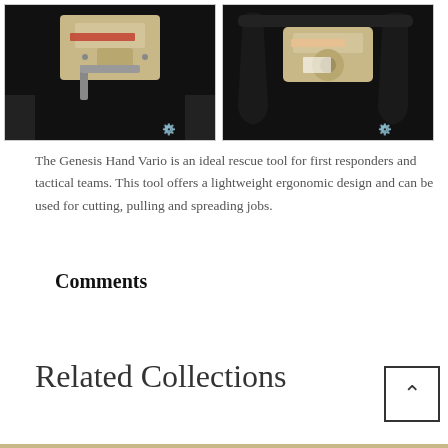[Figure (photo): Close-up photo of a Genesis Hand Vario rescue tool - hydraulic mechanism visible, beige/tan colored tool head against black frame]
[Figure (photo): Close-up photo of a Genesis Hand Vario rescue tool from another angle - black handle/frame with beige tool components visible]
The Genesis Hand Vario is an ideal rescue tool for first responders and tactical teams. This tool offers a lightweight ergonomic design and can be used for cutting, pulling and spreading jobs.
Comments
Related Collections